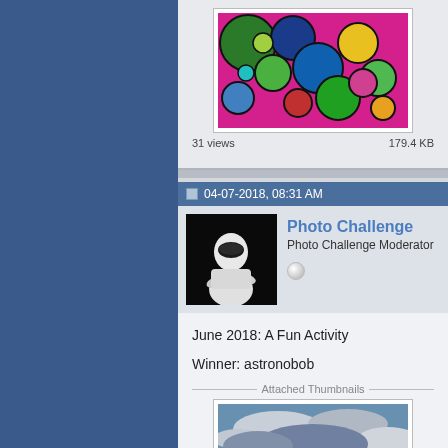[Figure (photo): Colorful macro photo of oil bubbles on water surface, showing green, yellow, pink, red, blue colors]
31 views   179.4 KB
04-07-2018, 08:31 AM
[Figure (photo): Avatar of Photo Challenge user: person in white racing suit and helmet (The Stig) standing arms crossed against black background]
Photo Challenge
Photo Challenge Moderator
June 2018: A Fun Activity

Winner: astronobob
Attached Thumbnails
[Figure (photo): Landscape photo showing a pier or walkway extending into water under dramatic cloudy sky]